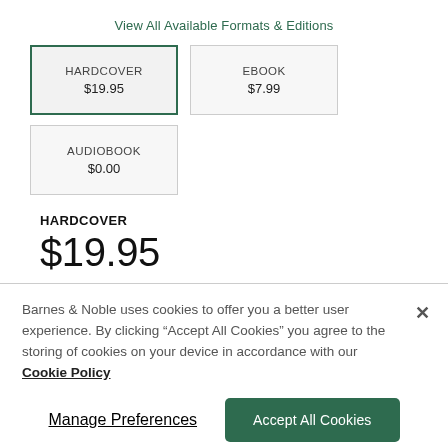View All Available Formats & Editions
| HARDCOVER
$19.95 | EBOOK
$7.99 |
| AUDIOBOOK
$0.00 |  |
HARDCOVER
$19.95
Barnes & Noble uses cookies to offer you a better user experience. By clicking "Accept All Cookies" you agree to the storing of cookies on your device in accordance with our Cookie Policy
Manage Preferences
Accept All Cookies